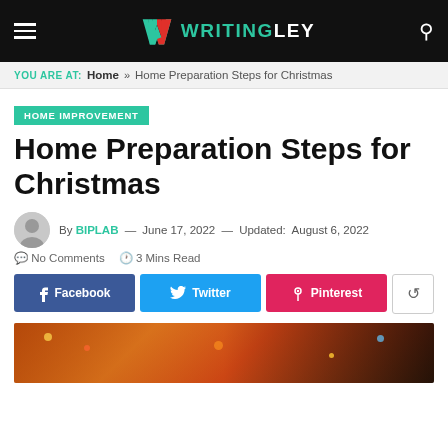WRITINGLEY
YOU ARE AT: Home » Home Preparation Steps for Christmas
HOME IMPROVEMENT
Home Preparation Steps for Christmas
By BIPLAB — June 17, 2022 — Updated: August 6, 2022
No Comments  3 Mins Read
Facebook  Twitter  Pinterest
[Figure (photo): Christmas-themed photo showing warm holiday lights and decorations, partially visible at the bottom of the page]